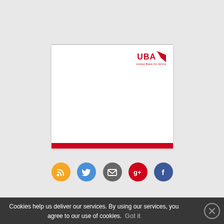[Figure (logo): UBA (United Bank for Africa) logo with red text and swoosh mark, positioned in upper right of white document card]
[Figure (infographic): Row of social media icons: RSS feed (orange), Twitter (blue), Email (gray), Google+ (red), Facebook (blue)]
Cookies help us deliver our services. By using our services, you agree to our use of cookies.
Got it